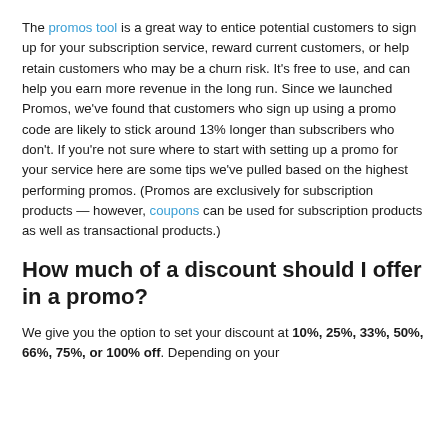The promos tool is a great way to entice potential customers to sign up for your subscription service, reward current customers, or help retain customers who may be a churn risk. It's free to use, and can help you earn more revenue in the long run. Since we launched Promos, we've found that customers who sign up using a promo code are likely to stick around 13% longer than subscribers who don't. If you're not sure where to start with setting up a promo for your service here are some tips we've pulled based on the highest performing promos. (Promos are exclusively for subscription products — however, coupons can be used for subscription products as well as transactional products.)
How much of a discount should I offer in a promo?
We give you the option to set your discount at 10%, 25%, 33%, 50%, 66%, 75%, or 100% off. Depending on your